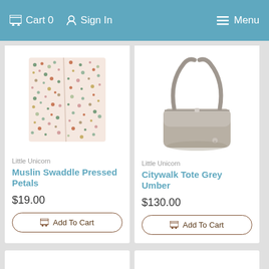Cart 0  Sign In  Menu
[Figure (photo): Muslin swaddle blanket with pressed petals floral pattern in pink, green, and multicolor on white background]
Little Unicorn
Muslin Swaddle Pressed Petals
$19.00
Add To Cart
[Figure (photo): Grey taupe leather tote bag with two handles and zipper top, Little Unicorn brand]
Little Unicorn
Citywalk Tote Grey Umber
$130.00
Add To Cart